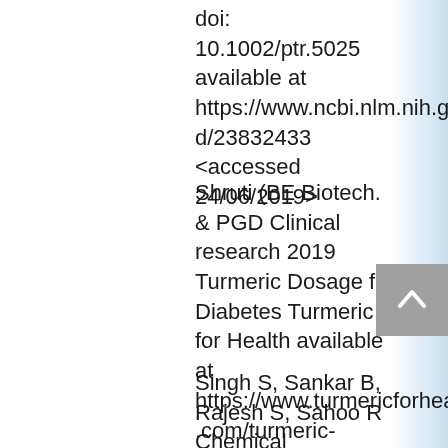doi: 10.1002/ptr.5025 available at https://www.ncbi.nlm.nih.gov/pubmed/23832433 <accessed 24/06/2019>
Shruti (BE Biotech. & PGD Clinical research 2019 Turmeric Dosage for Diabetes Turmeric for Health available at https://www.turmericforhealth.com/turmeric-dosage/turmeric-dosage-for-diabetes <accessed 27/06/2019>
Singh S, Sankar B, Rajesh S, Sahoo R Chemical Composition of Turmeric Oil